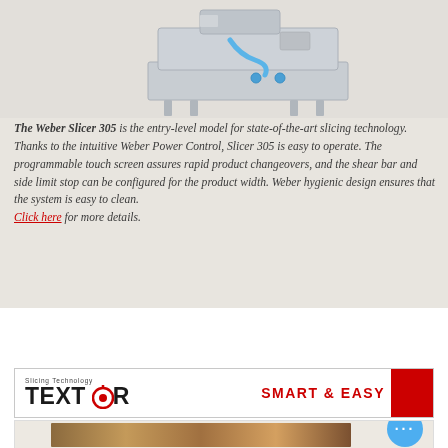[Figure (photo): Industrial meat slicer machine (Weber Slicer 305) shown from above against a beige-gray background. The machine is stainless steel with a blue tube/hose visible.]
The Weber Slicer 305 is the entry-level model for state-of-the-art slicing technology. Thanks to the intuitive Weber Power Control, Slicer 305 is easy to operate. The programmable touch screen assures rapid product changeovers, and the shear bar and side limit stop can be configured for the product width. Weber hygienic design ensures that the system is easy to clean. Click here for more details.
[Figure (logo): TEXTOR logo banner with 'Slicing Technology' text above, TEXTOR brand name in bold with stylized O, and 'SMART & EASY' text in red on the right side with a red accent bar.]
[Figure (photo): Partial view of a food product image showing what appears to be pasta or meat dish, partially visible at the bottom of the page.]